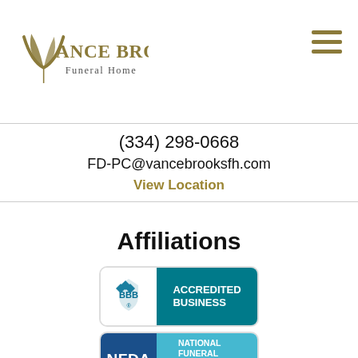Vance Brooks Funeral Home
(334) 298-0668
FD-PC@vancebrooksfh.com
View Location
Affiliations
[Figure (logo): BBB Accredited Business badge with teal background]
[Figure (logo): NFDA National Funeral Directors Association badge with blue and cyan background]